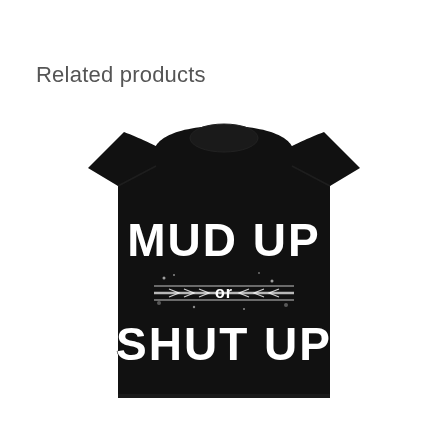Related products
[Figure (photo): Black t-shirt with white distressed grunge text reading 'MUD UP or SHUT UP' with a tire track graphic in the middle]